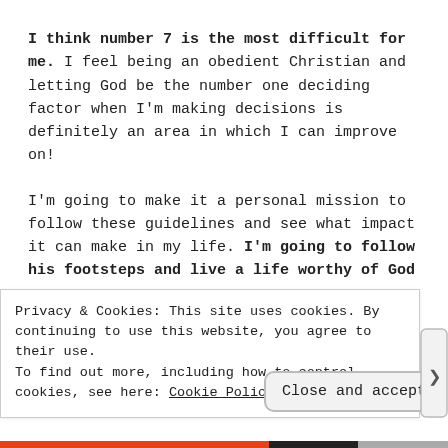I think number 7 is the most difficult for me. I feel being an obedient Christian and letting God be the number one deciding factor when I'm making decisions is definitely an area in which I can improve on!
I'm going to make it a personal mission to follow these guidelines and see what impact it can make in my life. I'm going to follow his footsteps and live a life worthy of God
Privacy & Cookies: This site uses cookies. By continuing to use this website, you agree to their use.
To find out more, including how to control cookies, see here: Cookie Policy